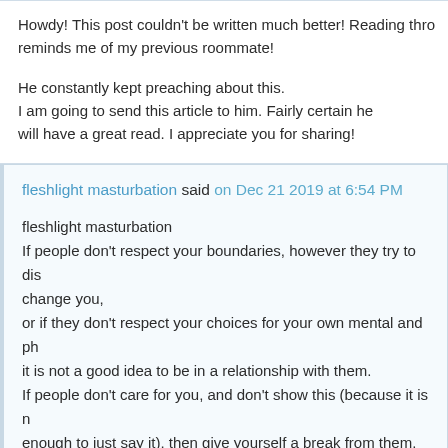Howdy! This post couldn't be written much better! Reading thro reminds me of my previous roommate!

He constantly kept preaching about this.
I am going to send this article to him. Fairly certain he will have a great read. I appreciate you for sharing!
fleshlight masturbation said on Dec 21 2019 at 6:54 PM
fleshlight masturbation
If people don't respect your boundaries, however they try to dis change you,
or if they don't respect your choices for your own mental and ph it is not a good idea to be in a relationship with them.
If people don't care for you, and don't show this (because it is n enough to just say it), then give yourself a break from them.
There are people out there who are great, and if they are 'just' f and not a boyfriend/ girlfriend, or relationship material,